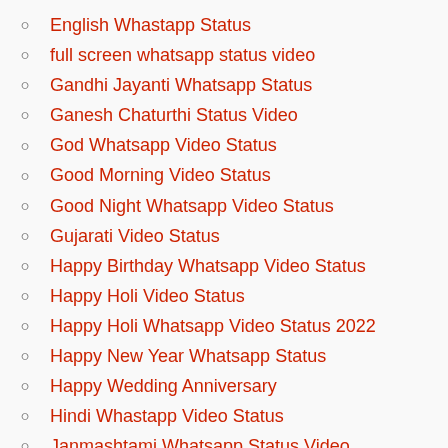English Whastapp Status
full screen whatsapp status video
Gandhi Jayanti Whatsapp Status
Ganesh Chaturthi Status Video
God Whatsapp Video Status
Good Morning Video Status
Good Night Whatsapp Video Status
Gujarati Video Status
Happy Birthday Whatsapp Video Status
Happy Holi Video Status
Happy Holi Whatsapp Video Status 2022
Happy New Year Whatsapp Status
Happy Wedding Anniversary
Hindi Whastapp Video Status
Janmashtami Whatsapp Status Video